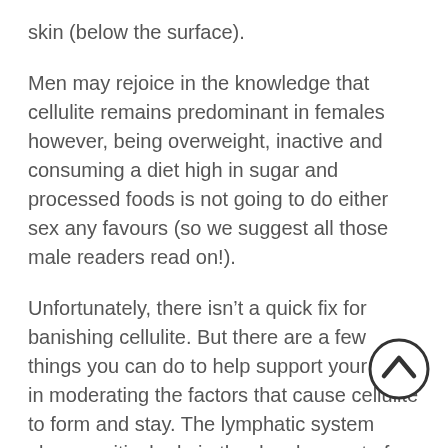skin (below the surface).
Men may rejoice in the knowledge that cellulite remains predominant in females however, being overweight, inactive and consuming a diet high in sugar and processed foods is not going to do either sex any favours (so we suggest all those male readers read on!).
Unfortunately, there isn't a quick fix for banishing cellulite. But there are a few things you can do to help support your body in moderating the factors that cause cellulite to form and stay. The lymphatic system plays a critical role in the development of cellulite. When sluggish, the lymphatic fluid that should carry away waste becomes trapped and the fats and toxins aren't removed because of the poor circulation. Healthy, well-functioning lymphatic
[Figure (other): Scroll-to-top circular button icon with an upward chevron arrow inside a circle outline, positioned at bottom-right of the page.]